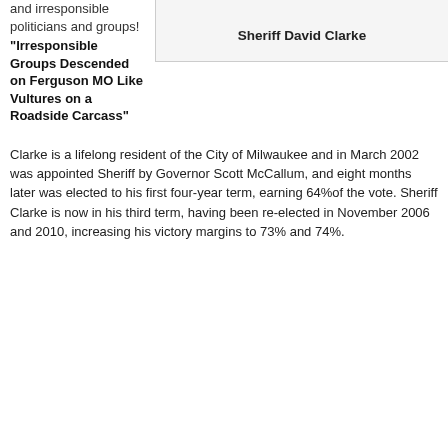and irresponsible politicians and groups!
Sheriff David Clarke
"Irresponsible Groups Descended on Ferguson MO Like Vultures on a Roadside Carcass"
Clarke is a lifelong resident of the City of Milwaukee and in March 2002 was appointed Sheriff by Governor Scott McCallum, and eight months later was elected to his first four-year term, earning 64%of the vote. Sheriff Clarke is now in his third term, having been re-elected in November 2006 and 2010, increasing his victory margins to 73% and 74%.